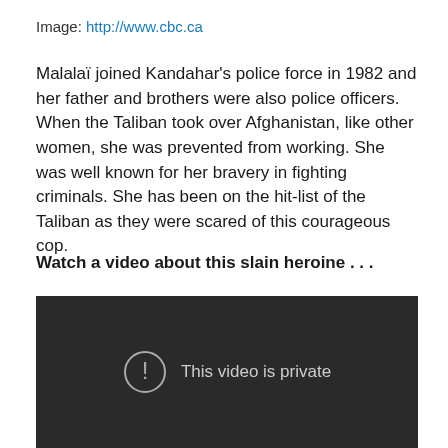Image: http://www.cbc.ca
Malalaï joined Kandahar's police force in 1982 and her father and brothers were also police officers. When the Taliban took over Afghanistan, like other women, she was prevented from working. She was well known for her bravery in fighting criminals. She has been on the hit-list of the Taliban as they were scared of this courageous cop.
Watch a video about this slain heroine . . .
[Figure (screenshot): Video player showing error message: This video is private]